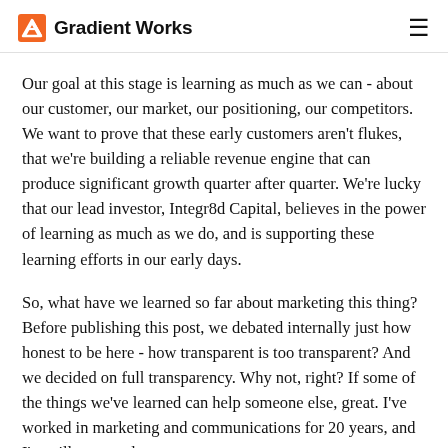Gradient Works
Our goal at this stage is learning as much as we can - about our customer, our market, our positioning, our competitors. We want to prove that these early customers aren't flukes, that we're building a reliable revenue engine that can produce significant growth quarter after quarter. We're lucky that our lead investor, Integr8d Capital, believes in the power of learning as much as we do, and is supporting these learning efforts in our early days.
So, what have we learned so far about marketing this thing? Before publishing this post, we debated internally just how honest to be here - how transparent is too transparent? And we decided on full transparency. Why not, right? If some of the things we've learned can help someone else, great. I've worked in marketing and communications for 20 years, and I'm still constantly